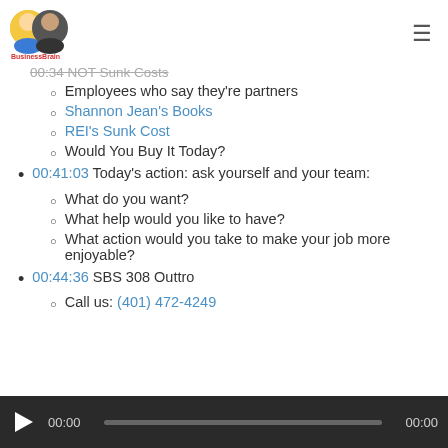BusinessBrain Show logo and navigation
Employees who say they're partners
Shannon Jean's Books
REI's Sunk Cost
Would You Buy It Today?
00:41:03 Today's action: ask yourself and your team:
What do you want?
What help would you like to have?
What action would you take to make your job more enjoyable?
00:44:36 SBS 308 Outtro
Call us: (401) 472-4249